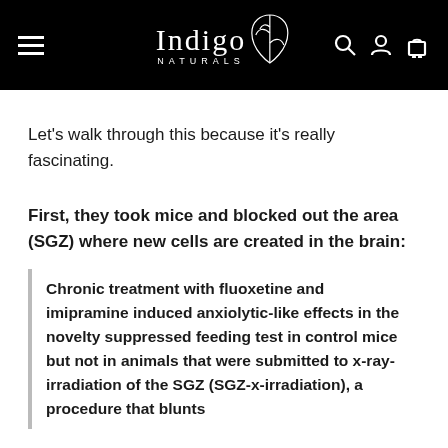Indigo Naturals
Let's walk through this because it's really fascinating.
First, they took mice and blocked out the area (SGZ) where new cells are created in the brain:
Chronic treatment with fluoxetine and imipramine induced anxiolytic-like effects in the novelty suppressed feeding test in control mice but not in animals that were submitted to x-ray-irradiation of the SGZ (SGZ-x-irradiation), a procedure that blunts